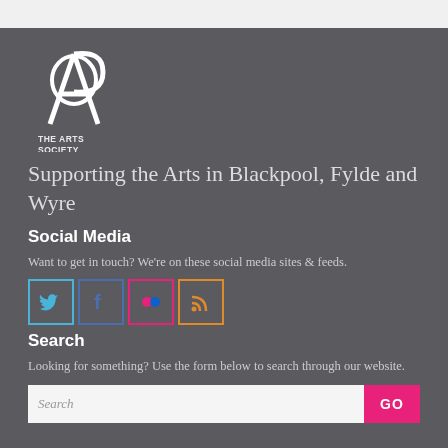[Figure (logo): The Arts Society Fylde logo — stylized interlocked A and P letters in white, with text 'THE ARTS SOCIETY FYLDE' below]
Supporting the Arts in Blackpool, Fylde and Wyre
Social Media
Want to get in touch? We're on these social media sites & feeds.
[Figure (illustration): Four social media icons in bordered squares: Twitter (blue bird), Facebook (blue f), Flickr (pink camera), RSS (orange feed symbol)]
Search
Looking for something? Use the form below to search through our website.
Search  GO